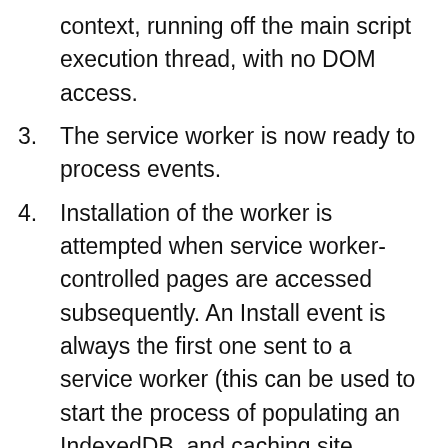context, running off the main script execution thread, with no DOM access.
3. The service worker is now ready to process events.
4. Installation of the worker is attempted when service worker-controlled pages are accessed subsequently. An Install event is always the first one sent to a service worker (this can be used to start the process of populating an IndexedDB, and caching site assets). This is really the same kind of procedure as installing a native or Firefox OS app — making this